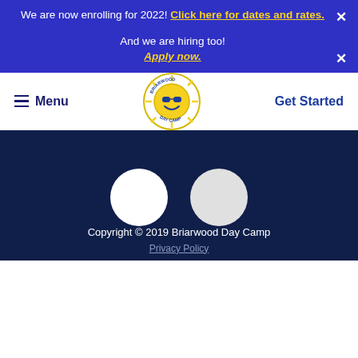We are now enrolling for 2022! Click here for dates and rates.
And we are hiring too! Apply now.
[Figure (logo): Briarwood Day Camp circular logo with sun and smiley face]
Menu
Get Started
[Figure (other): Two white circles on dark navy background (loading indicator)]
Copyright © 2019 Briarwood Day Camp
Privacy Policy